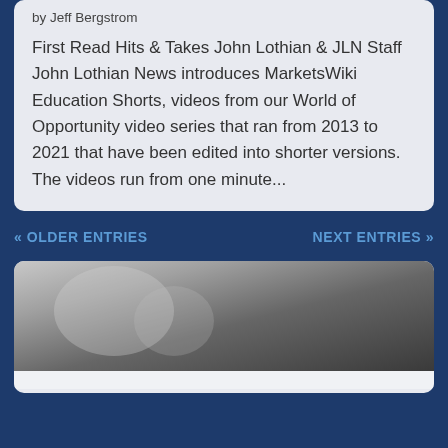by Jeff Bergstrom
First Read Hits & Takes John Lothian & JLN Staff John Lothian News introduces MarketsWiki Education Shorts, videos from our World of Opportunity video series that ran from 2013 to 2021 that have been edited into shorter versions. The videos run from one minute...
« OLDER ENTRIES
NEXT ENTRIES »
[Figure (photo): Grayscale photograph, partially visible, showing blurred figures]